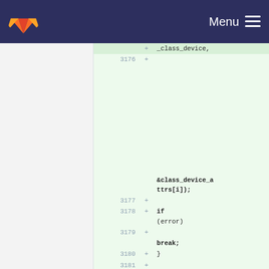GitLab navigation bar with logo and Menu button
[Figure (screenshot): GitLab code diff view showing added lines 3176-3182 of source code with green highlighting. Lines include: _class_device, (blank line 3176), &class_device_attrs[i]);, (lines 3177-3178 blank), if (error), (line 3179 blank), break;, } (line 3180), (line 3181 blank), if (line 3182), (error) {]